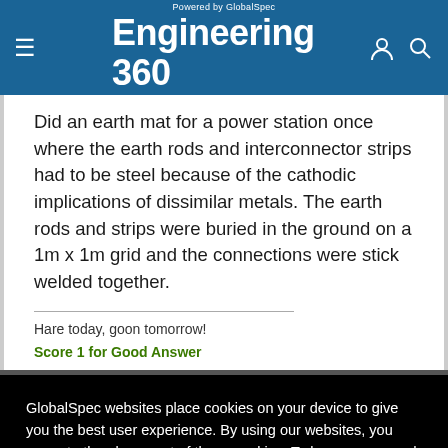Engineering 360 — Powered by GlobalSpec
Did an earth mat for a power station once where the earth rods and interconnector strips had to be steel because of the cathodic implications of dissimilar metals. The earth rods and strips were buried in the ground on a 1m x 1m grid and the connections were stick welded together.
Hare today, goon tomorrow!
Score 1 for Good Answer
GlobalSpec websites place cookies on your device to give you the best user experience. By using our websites, you agree to the placement of these cookies. To learn more, read our Privacy Policy
Accept & Close